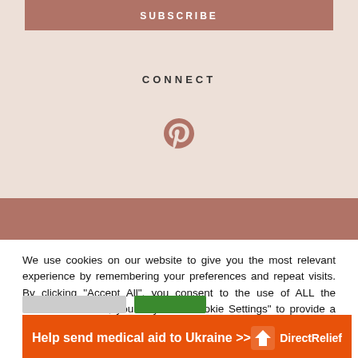SUBSCRIBE
CONNECT
[Figure (illustration): Pinterest logo icon in muted rose/terracotta color]
We use cookies on our website to give you the most relevant experience by remembering your preferences and repeat visits. By clicking “Accept All”, you consent to the use of ALL the cookies. However, you may visit "Cookie Settings" to provide a controlled consent.
[Figure (infographic): Orange advertisement banner: 'Help send medical aid to Ukraine >>' with DirectRelief logo on the right]